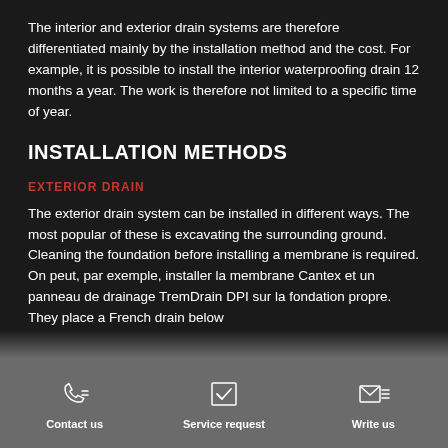The interior and exterior drain systems are therefore differentiated mainly by the installation method and the cost. For example, it is possible to install the interior waterproofing drain 12 months a year. The work is therefore not limited to a specific time of year.
INSTALLATION METHODS
EXTERIOR DRAIN
The exterior drain system can be installed in different ways. The most popular of these is excavating the surrounding ground. Cleaning the foundation before installing a membrane is required. On peut, par exemple, installer la membrane Cantex et un panneau de drainage TremDrain DPI sur la fondation propre. They place a French drain below...
Contact us   Service request   Write us